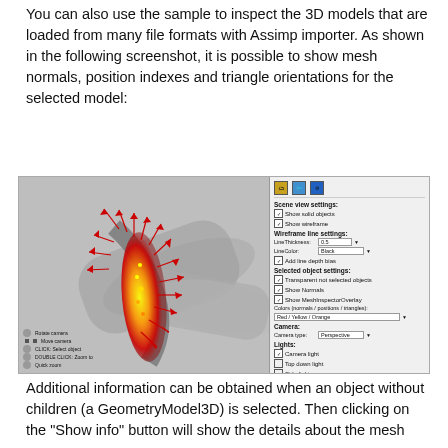You can also use the sample to inspect the 3D models that are loaded from many file formats with Assimp importer. As shown in the following screenshot, it is possible to show mesh normals, position indexes and triangle orientations for the selected model:
[Figure (screenshot): Screenshot of a 3D Model viewer application showing a turbine/propeller model with mesh normals displayed as red arrows and position heatmap in yellow/orange, alongside a settings panel with Scene view settings, Wireframe line settings, Selected object settings, Camera, and Lights controls.]
Additional information can be obtained when an object without children (a GeometryModel3D) is selected. Then clicking on the "Show info" button will show the details about the mesh